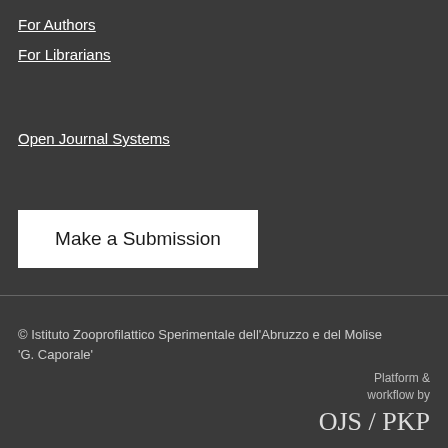For Authors
For Librarians
Open Journal Systems
Make a Submission
© Istituto Zooprofilattico Sperimentale dell'Abruzzo e del Molise 'G. Caporale'
Platform & workflow by OJS / PKP